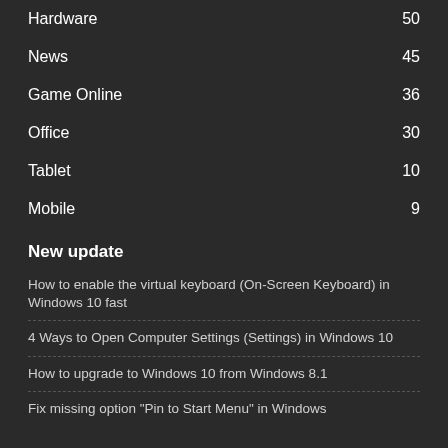Hardware  50
News  45
Game Online  36
Office  30
Tablet  10
Mobile  9
New update
How to enable the virtual keyboard (On-Screen Keyboard) in Windows 10 fast
4 Ways to Open Computer Settings (Settings) in Windows 10
How to upgrade to Windows 10 from Windows 8.1
Fix missing option "Pin to Start Menu" in Windows